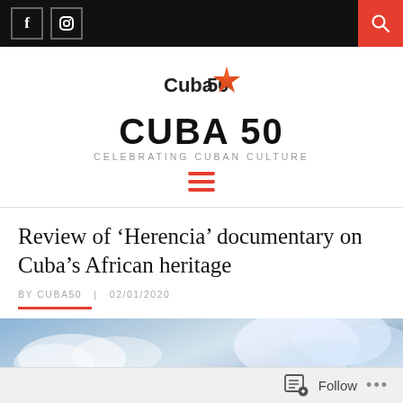[Figure (screenshot): Top navigation bar with black background, Facebook and Instagram icons on left, red search button on right]
[Figure (logo): Cuba50 logo with star graphic, showing 'Cuba' in black text and '50' with an orange/red star]
CUBA 50
CELEBRATING CUBAN CULTURE
[Figure (other): Hamburger menu icon in red]
Review of ‘Herencia’ documentary on Cuba’s African heritage
BY CUBA50  |  02/01/2020
[Figure (photo): Partial image of sky with clouds, blue tones]